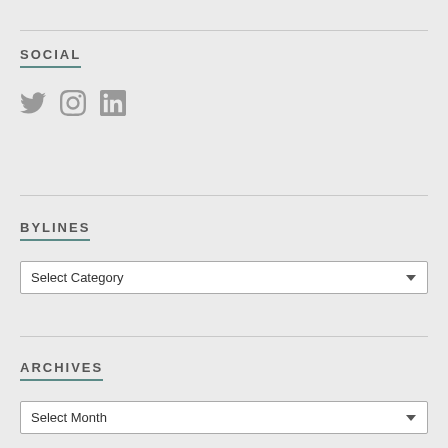SOCIAL
[Figure (illustration): Social media icons: Twitter bird, Instagram camera, LinkedIn 'in' logo, all in gray]
BYLINES
Select Category (dropdown)
ARCHIVES
Select Month (dropdown)